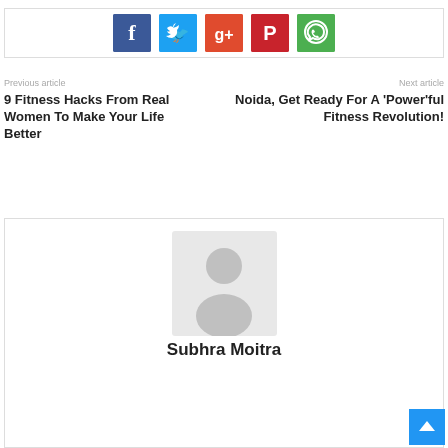[Figure (infographic): Social sharing buttons: Facebook (blue), Twitter (light blue), Google+ (red-orange), Pinterest (dark red), WhatsApp (green)]
Previous article
9 Fitness Hacks From Real Women To Make Your Life Better
Next article
Noida, Get Ready For A 'Power'ful Fitness Revolution!
[Figure (illustration): Author avatar placeholder — grey silhouette of a person]
Subhra Moitra